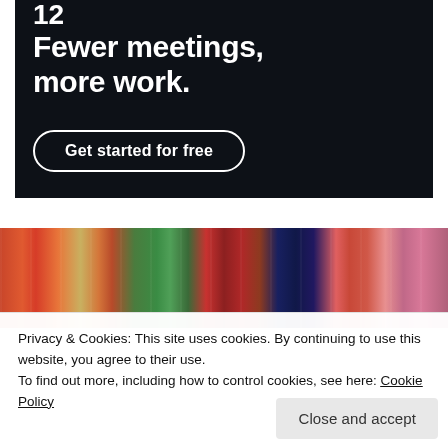[Figure (screenshot): Dark navy advertisement banner with large white bold text 'Fewer meetings, more work.' and a rounded pill button 'Get started for free'. A small 'REPORT THIS AD' link appears below the banner.]
[Figure (photo): Colorful handbags and purses arranged on a light background, partially visible.]
Privacy & Cookies: This site uses cookies. By continuing to use this website, you agree to their use.
To find out more, including how to control cookies, see here: Cookie Policy
Close and accept